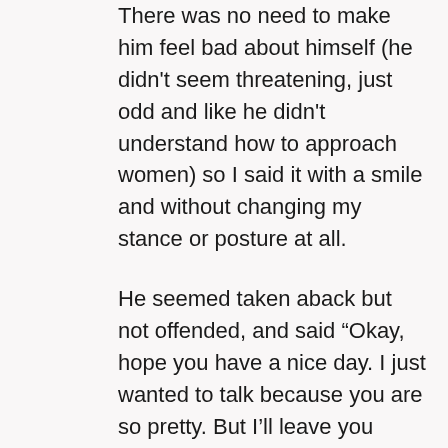There was no need to make him feel bad about himself (he didn't seem threatening, just odd and like he didn't understand how to approach women) so I said it with a smile and without changing my stance or posture at all.
He seemed taken aback but not offended, and said “Okay, hope you have a nice day. I just wanted to talk because you are so pretty. But I’ll leave you alone now.” He said all this while backing away from us, and then he slowly loped off down the road until, with one last shout of “You’re so beautiful!,” he faded from view.